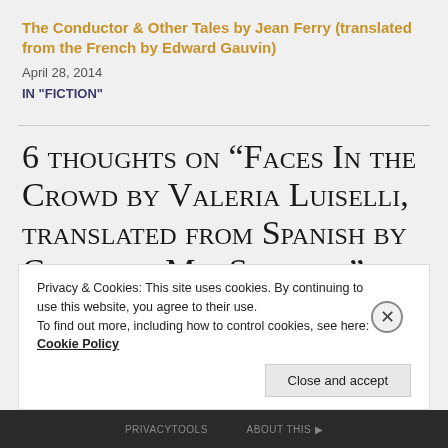The Conductor & Other Tales by Jean Ferry (translated from the French by Edward Gauvin)
April 28, 2014
IN "FICTION"
6 thoughts on “Faces In the Crowd by Valeria Luiselli, translated from Spanish by Christina MacSweeney”
Privacy & Cookies: This site uses cookies. By continuing to use this website, you agree to their use.
To find out more, including how to control cookies, see here: Cookie Policy
Close and accept